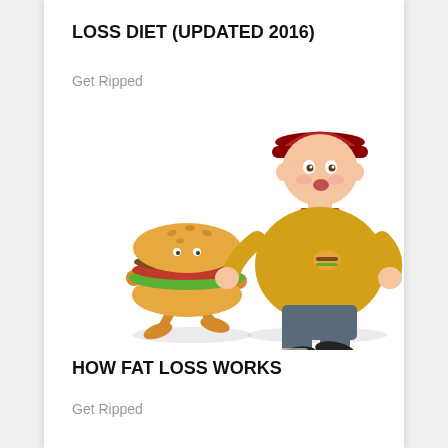LOSS DIET (UPDATED 2016)
Get Ripped
[Figure (illustration): A cartoon 3D animated overweight boy wearing a yellow t-shirt, grey shorts, and a red cap, chasing a cartoon animated burger character with legs, running to the right.]
HOW FAT LOSS WORKS
Get Ripped